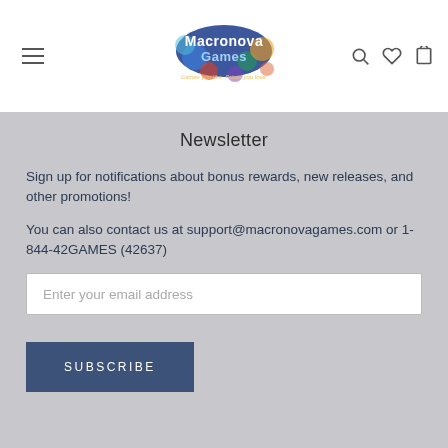Macronova Games — navigation header with logo, menu, search, wishlist, and cart icons
Newsletter
Sign up for notifications about bonus rewards, new releases, and other promotions!
You can also contact us at support@macronovagames.com or 1-844-42GAMES (42637)
Enter your email address
SUBSCRIBE